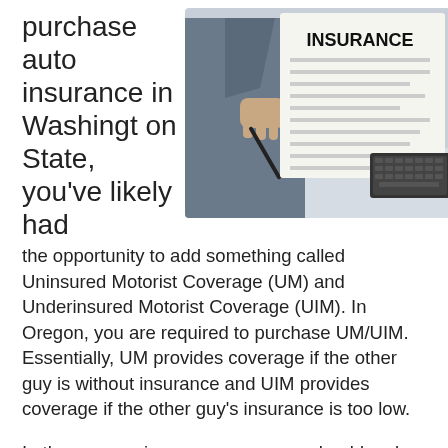purchase auto insurance in Washington State, you've likely had
[Figure (photo): Person in suit holding an insurance document/paper with the word INSURANCE in bold at the top, holding a pen, with a keyboard visible in the background.]
the opportunity to add something called Uninsured Motorist Coverage (UM) and Underinsured Motorist Coverage (UIM). In Oregon, you are required to purchase UM/UIM. Essentially, UM provides coverage if the other guy is without insurance and UIM provides coverage if the other guy's insurance is too low.
In theory, your insurance company should make a good faith effort to investigate your claim and